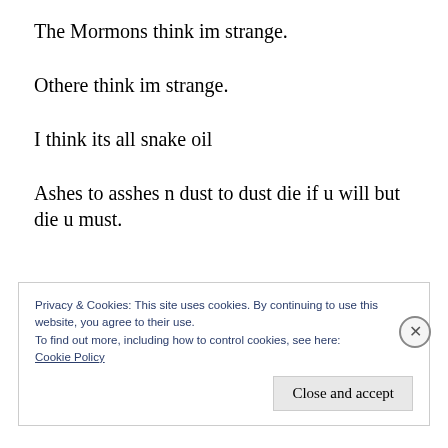The Mormons think im strange.
Othere think im strange.
I think its all snake oil
Ashes to asshes n dust to dust die if u will but die u must.
Privacy & Cookies: This site uses cookies. By continuing to use this website, you agree to their use.
To find out more, including how to control cookies, see here:
Cookie Policy
Close and accept